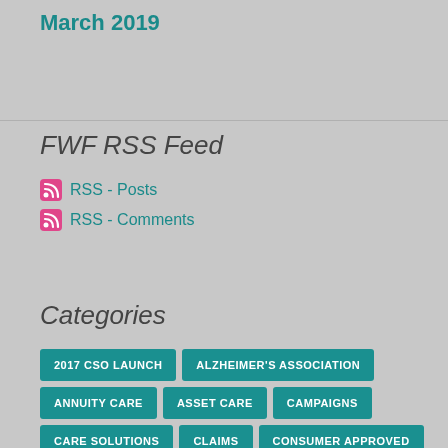March 2019
FWF RSS Feed
RSS - Posts
RSS - Comments
Categories
2017 CSO LAUNCH
ALZHEIMER'S ASSOCIATION
ANNUITY CARE
ASSET CARE
CAMPAIGNS
CARE SOLUTIONS
CLAIMS
CONSUMER APPROVED
CONTINUATION OF BENEFIT RIDER